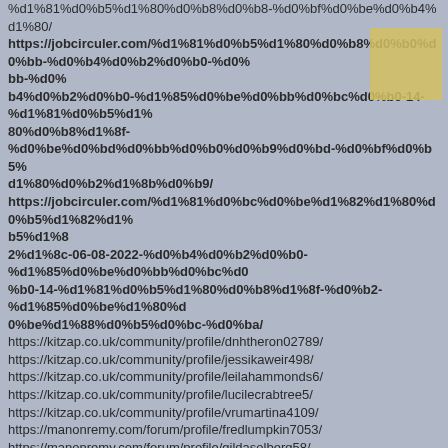%d1%81%d0%b5%d1%80%d0%b8%d0%b8-%d0%bf%d0%be%d0%b4%d1%80/
https://jobcirculer.com/%d1%81%d0%b5%d1%80%d0%b8%d0%b0%d0%bb-%d0%b4%d0%b2%d0%b0-%d1%85%d0%be%d0%bb%d0%bc%d0%b0-14-%d1%81%d0%b5%d1%80%d0%b8%d1%8f-%d0%be%d0%bd%d0%bb%d0%b0%d0%b9%d0%bd-%d0%bf%d0%b5%d1%80%d0%b5%d0%b2%d0%be%d0%b4%d0%b9/
https://jobcirculer.com/%d1%81%d0%bc%d0%be%d1%82%d1%80%d0%b5%d1%82%d1%82%d1%82%d1%8d-06-08-2022-%d0%b4%d0%b2%d0%b0-%d1%85%d0%be%d0%bb%d0%bc%d0%b0-14-%d1%81%d0%b5%d1%80%d0%b8%d1%8f-%d0%b2%d1%85%d0%be%d0%b4%d1%8f-%d1%8f-%d1%85%d0%be%d1%87%d1%88%d0%b5%d0%bc-%d0%ba%d0%b0/
https://kitzap.co.uk/community/profile/dnhtheron02789/
https://kitzap.co.uk/community/profile/jessikaweir498/
https://kitzap.co.uk/community/profile/leilahammonds6/
https://kitzap.co.uk/community/profile/lucilecrabtree5/
https://kitzap.co.uk/community/profile/vrumartina4109/
https://manonremy.com/forum/profile/fredlumpkin7053/
https://manonremy.com/forum/profile/gildasolberg58/
https://mosigo.net/bbs/board.php?bo_table=free&wr_id=239943
https://mtmhouse.co.kr/bbs/board.php?bo_table=free&wr_id=686
https://ncncs.com/bbs/board.php?bo_table=free&wr_id=2561
https://openspace.inspire-erasmusproject.eu/community/profile/napoleonmeredit/ https://practiformas.com.mx/?p=2544